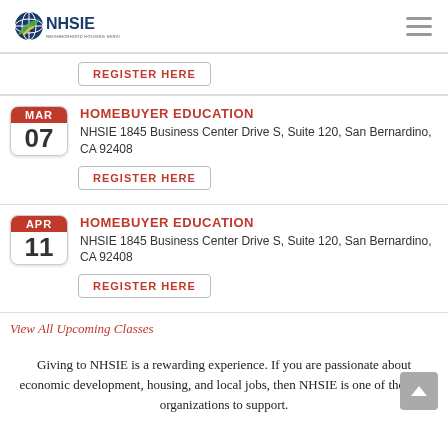NHSIE
REGISTER HERE
HOMEBUYER EDUCATION
NHSIE 1845 Business Center Drive S, Suite 120, San Bernardino, CA 92408
REGISTER HERE
HOMEBUYER EDUCATION
NHSIE 1845 Business Center Drive S, Suite 120, San Bernardino, CA 92408
REGISTER HERE
View All Upcoming Classes
Giving to NHSIE is a rewarding experience. If you are passionate about economic development, housing, and local jobs, then NHSIE is one of the best organizations to support.